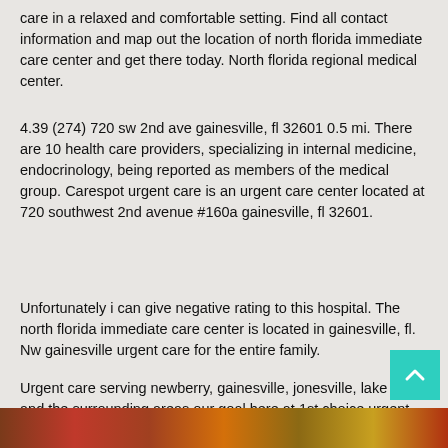care in a relaxed and comfortable setting. Find all contact information and map out the location of north florida immediate care center and get there today. North florida regional medical center.
4.39 (274) 720 sw 2nd ave gainesville, fl 32601 0.5 mi. There are 10 health care providers, specializing in internal medicine, endocrinology, being reported as members of the medical group. Carespot urgent care is an urgent care center located at 720 southwest 2nd avenue #160a gainesville, fl 32601.
Unfortunately i can give negative rating to this hospital. The north florida immediate care center is located in gainesville, fl. Nw gainesville urgent care for the entire family.
Urgent care serving newberry, gainesville, jonesville, lake butler and the surrounding areas our goal here at 1st choice urgent care is to provide you with the best in quality health care in a relaxed and comfortable setting. 3581 sw archer road, suite 40.
[Figure (photo): A strip of colorful photograph at the bottom of the page showing warm reddish-orange tones]